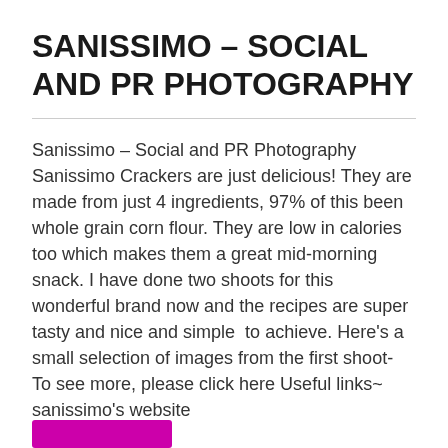SANISSIMO – SOCIAL AND PR PHOTOGRAPHY
Sanissimo – Social and PR Photography Sanissimo Crackers are just delicious! They are made from just 4 ingredients, 97% of this been whole grain corn flour. They are low in calories too which makes them a great mid-morning snack. I have done two shoots for this wonderful brand now and the recipes are super tasty and nice and simple  to achieve. Here's a small selection of images from the first shoot- To see more, please click here Useful links~ sanissimo's website
[Figure (other): Magenta/purple colored button or banner element partially visible at bottom of page]